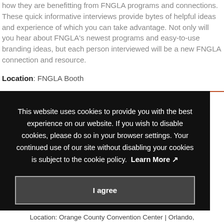how they are benefitting from FNGLA programs and connections. These quick informative interviews provide bytes of helpful ideas and experience of which you can take advantage. Not only will you hear about FNGLA's newest programs and easy-to-use branding ideas, but each person interviewed will be a new FNGLA connection and resource.
Location: FNGLA Booth
This website uses cookies to provide you with the best experience on our website. If you wish to disable cookies, please do so in your browser settings. Your continued use of our site without disabling your cookies is subject to the cookie policy. Learn More
I agree
Location: Orange County Convention Center | Orlando,